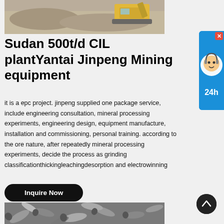[Figure (photo): Construction site with heavy machinery (bulldozer/excavator) working on sandy/gravel terrain from above]
Sudan 500t/d CIL plantYantai Jinpeng Mining equipment
it is a epc project. jinpeng supplied one package service, include engineering consultation, mineral processing experiments, engineering design, equipment manufacture, installation and commissioning, personal training. according to the ore nature, after repeatedly mineral processing experiments, decide the process as grinding classificationthickingleachingdesorption and electrowinning
[Figure (other): Chat/support widget with cartoon character and 24h text, blue background with X close button]
[Figure (photo): Close-up of metal rods or cylindrical steel pieces piled together]